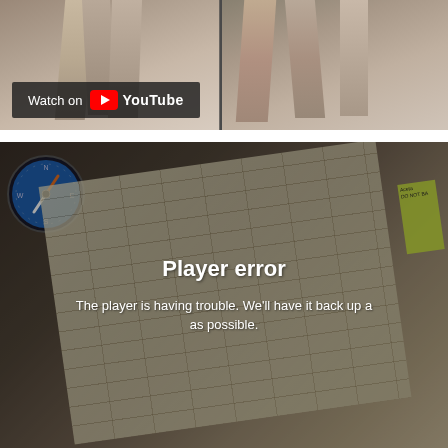[Figure (screenshot): Top video thumbnail showing people walking on a beach, with 'Watch on YouTube' overlay button at the bottom left]
[Figure (screenshot): Bottom video showing a close-up of a historical score sheet/document with a compass visible, overlaid with a 'Player error' message: 'The player is having trouble. We'll have it back up as soon as possible.']